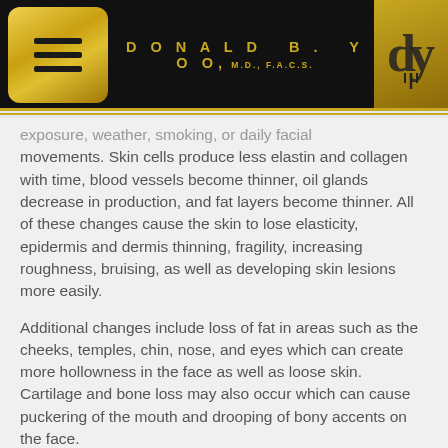DONALD B. YOO, M.D., F.A.C.S.
exposure, weather, smoking, or daily facial movements. Skin cells produce less elastin and collagen with time, blood vessels become thinner, oil glands decrease in production, and fat layers become thinner. All of these changes cause the skin to lose elasticity, epidermis and dermis thinning, fragility, increasing roughness, bruising, as well as developing skin lesions more easily.
Additional changes include loss of fat in areas such as the cheeks, temples, chin, nose, and eyes which can create more hollowness in the face as well as loose skin. Cartilage and bone loss may also occur which can cause puckering of the mouth and drooping of bony accents on the face.
Although the fountain of youth is a myth, it is